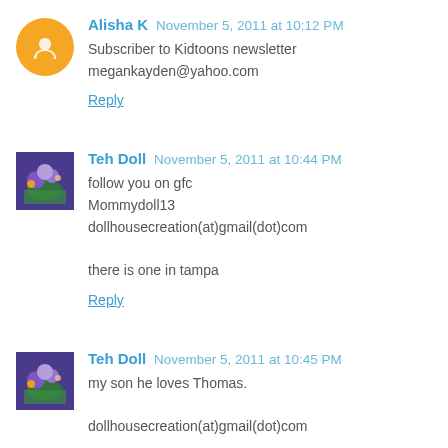Alisha K  November 5, 2011 at 10:12 PM
Subscriber to Kidtoons newsletter
megankayden@yahoo.com
Reply
Teh Doll  November 5, 2011 at 10:44 PM
follow you on gfc
Mommydoll13
dollhousecreation(at)gmail(dot)com

there is one in tampa
Reply
Teh Doll  November 5, 2011 at 10:45 PM
my son he loves Thomas.

dollhousecreation(at)gmail(dot)com